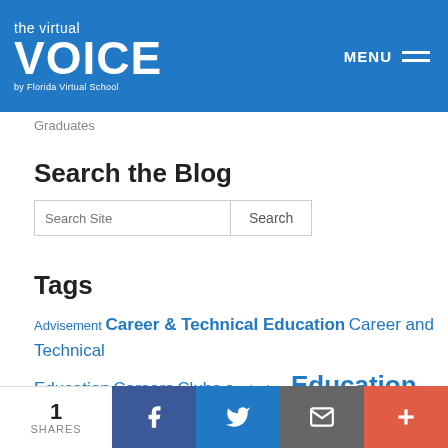the virtual VOICE by Florida Virtual School | MENU
Graduates
Search the Blog
Search Site  Search
Tags
Advisement Career & Technical Education Career and Technical Education Careers Clubs Curriculum Education Elementary Florida Virtual School FLVS FLVS Clubs FLVS Corkboard FLVS Flex FLVS Flex Elementary FLVS
1 SHARES  [Facebook] [Twitter] [Email] [+]